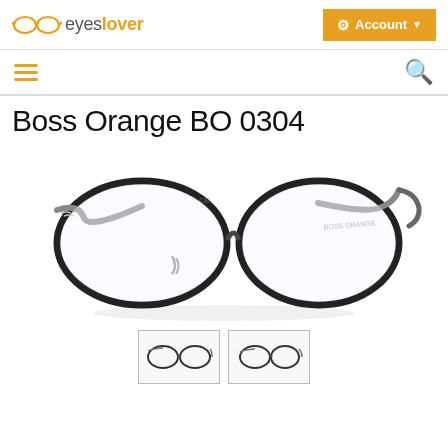eyeslover — Account
[Figure (logo): eyeslover logo with glasses icon and orange/gray text]
[Figure (screenshot): Navigation bar with hamburger menu (orange) and search icon (orange)]
Boss Orange BO 0304
[Figure (photo): Boss Orange BO 0304 eyeglasses, dark metal frames with grey patterned temples, front 3/4 view against white background]
[Figure (photo): Two thumbnail images of Boss Orange BO 0304 eyeglasses from different angles]